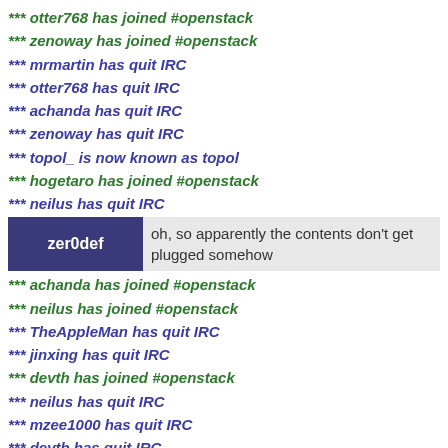*** otter768 has joined #openstack
*** zenoway has joined #openstack
*** mrmartin has quit IRC
*** otter768 has quit IRC
*** achanda has quit IRC
*** zenoway has quit IRC
*** topol_ is now known as topol
*** hogetaro has joined #openstack
*** neilus has quit IRC
zer0def: oh, so apparently the contents don't get plugged somehow
*** achanda has joined #openstack
*** neilus has joined #openstack
*** TheAppleMan has quit IRC
*** jinxing has quit IRC
*** devth has joined #openstack
*** neilus has quit IRC
*** mzee1000 has quit IRC
*** devth has quit IRC
*** cptweasel has joined #openstack
*** Cyberg has joined #openstack
*** cptweasel has quit IRC